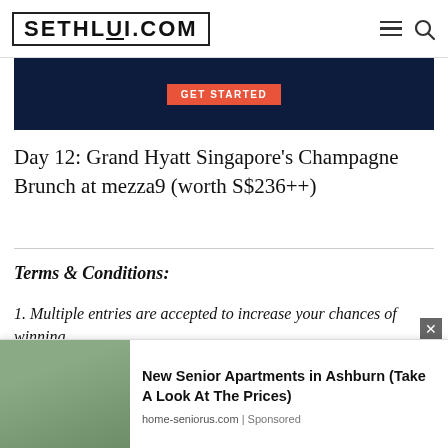SETHLUI.COM
[Figure (other): Dark navy blue advertisement banner with orange GET STARTED button]
Day 12: Grand Hyatt Singapore's Champagne Brunch at mezza9 (worth S$236++)
Terms & Conditions:
1. Multiple entries are accepted to increase your chances of winning.
2. Tags and comments must be made before 11:59pm
[Figure (photo): Bottom advertisement overlay showing senior apartments in Ashburn with house photo and text: New Senior Apartments in Ashburn (Take A Look At The Prices), home-seniorus.com | Sponsored]